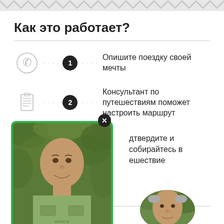Как это работает?
1 — Опишите поездку своей мечты
2 — Консультант по путешествиям поможет настроить маршрут
3 — [подтвердите и собирайтесь в путешествие (partially obscured)]
[Figure (photo): Photo of a bald man in a green safari vest, shown in a popup with green border and close button]
[Figure (photo): Circular photo of a middle-aged man outdoors, partially visible at bottom right]